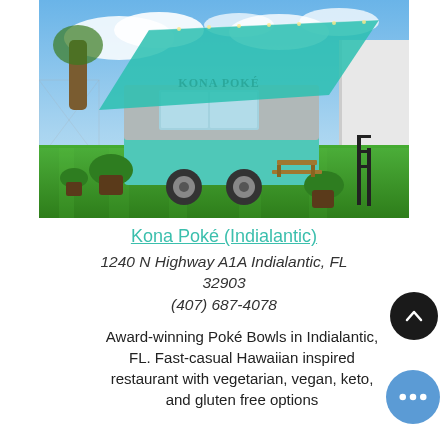[Figure (photo): Kona Poké food truck/trailer with teal awning on green artificial grass, with potted plants and picnic bench, white building on the right, blue sky with clouds.]
Kona Poké (Indialantic)
1240 N Highway A1A Indialantic, FL 32903
(407) 687-4078
Award-winning Poké Bowls in Indialantic, FL. Fast-casual Hawaiian inspired restaurant with vegetarian, vegan, keto, and gluten free options